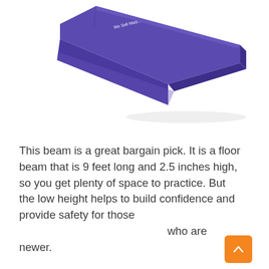[Figure (photo): A purple foam gymnastics floor balance beam shown at a diagonal angle against a white background. The beam is long and rectangular with a slight arch shape, branded with 'We Sell Mats' logo.]
This beam is a great bargain pick. It is a floor beam that is 9 feet long and 2.5 inches high, so you get plenty of space to practice. But the low height helps to build confidence and provide safety for those who are newer.